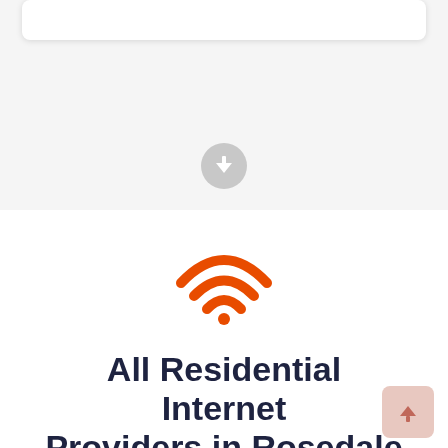[Figure (illustration): Gray circular button with a white downward arrow icon, centered in a light gray section of the page]
[Figure (illustration): Orange WiFi signal icon with three arcs and a dot, centered on white background]
All Residential Internet Providers in Rosedale